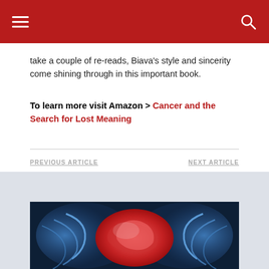Navigation header with hamburger menu and search icon
take a couple of re-reads, Biava's style and sincerity come shining through in this important book.
To learn more visit Amazon > Cancer and the Search for Lost Meaning
PREVIOUS ARTICLE
NEXT ARTICLE
[Figure (illustration): Medical illustration showing a human torso with internal anatomy highlighted in red and blue]